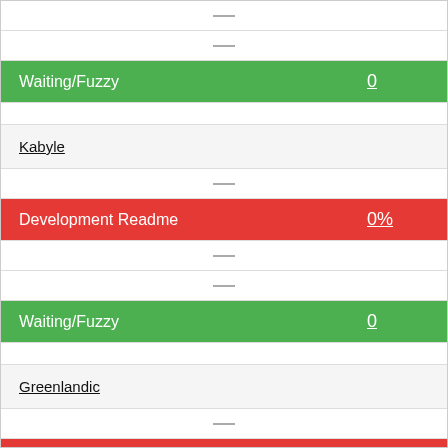| — |  |
| — |  |
| Waiting/Fuzzy | 0 |
|  |  |
| Kabyle |  |
| — |  |
| Development Readme | 0% |
| — |  |
| — |  |
| Waiting/Fuzzy | 0 |
|  |  |
| Greenlandic |  |
| — |  |
| Development Readme | 0% |